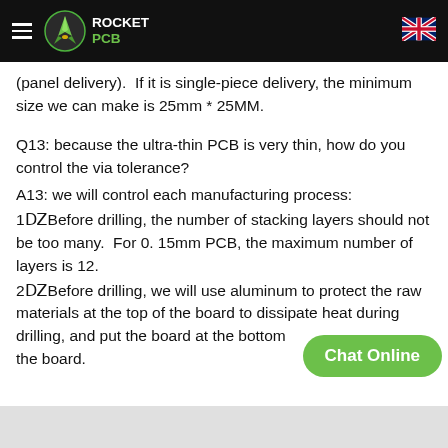Rocket PCB
(panel delivery).  If it is single-piece delivery, the minimum size we can make is 25mm * 25MM.
Q13: because the ultra-thin PCB is very thin, how do you control the via tolerance?
A13: we will control each manufacturing process:
1️Before drilling, the number of stacking layers should not be too many.  For 0. 15mm PCB, the maximum number of layers is 12.
2️Before drilling, we will use aluminum to protect the raw materials at the top of the board to dissipate heat during drilling, and put the board at the bottom the board.